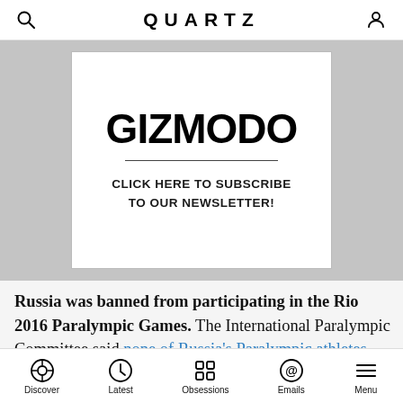QUARTZ
[Figure (screenshot): Gizmodo advertisement banner with text: GIZMODO / CLICK HERE TO SUBSCRIBE TO OUR NEWSLETTER!]
Russia was banned from participating in the Rio 2016 Paralympic Games. The International Paralympic Committee said none of Russia's Paralympic athletes would be allowed to compete in the September games because of a doping scandal that led some, but not all, of Russia's Olympic team to be excluded from the [Games]
Discover | Latest | Obsessions | Emails | Menu